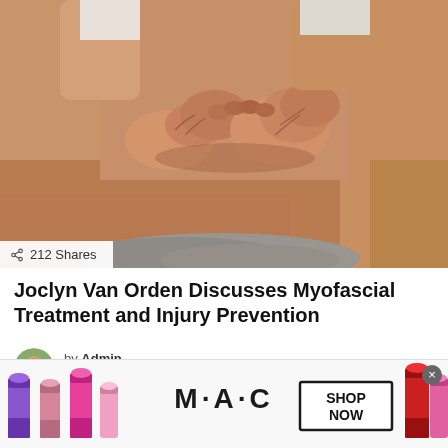[Figure (photo): Close-up of hands performing myofascial/massage therapy on a person's upper back and shoulder area. The therapist's hands are pressing firmly into the skin. The patient has short gray hair visible at the bottom of the image.]
212 Shares
Joclyn Van Orden Discusses Myofascial Treatment and Injury Prevention
by Admin
13 days ago
[Figure (advertisement): MAC Cosmetics advertisement banner showing multiple lipsticks in purple, pink, and red shades on the left and right sides, with the MAC logo in the center and a 'SHOP NOW' button in a black-bordered box on the right.]